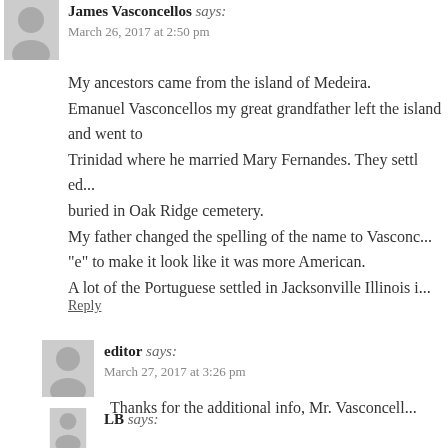James Vasconcellos says:
March 26, 2017 at 2:50 pm
My ancestors came from the island of Medeira. Emanuel Vasconcellos my great grandfather left the island and went to Trinidad where he married Mary Fernandes. They settled... buried in Oak Ridge cemetery.
My father changed the spelling of the name to Vasconc... "e" to make it look like it was more American.
A lot of the Portuguese settled in Jacksonville Illinois i...
Reply
editor says:
March 27, 2017 at 3:26 pm
Thanks for the additional info, Mr. Vasconcell...
Reply
LB says: